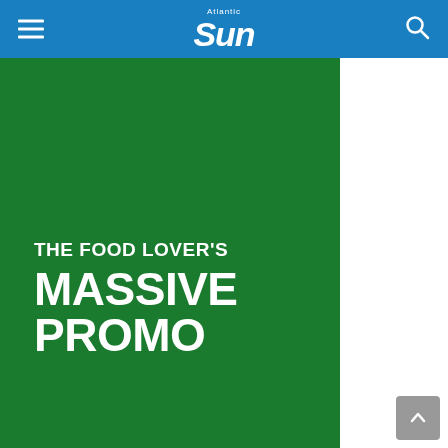Atlantic Sun
[Figure (illustration): Green promotional banner reading 'THE FOOD LOVER'S MASSIVE PROMO' on a dark green background]
THE FOOD LOVER'S MASSIVE PROMO